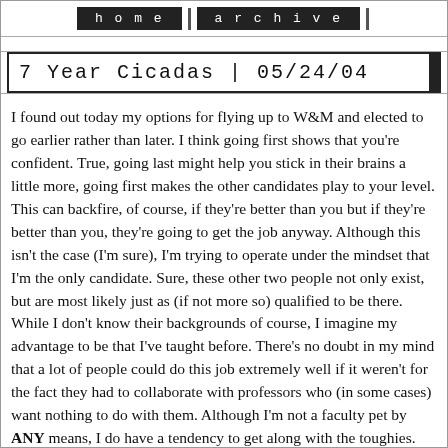home  archive
7 Year Cicadas | 05/24/04
I found out today my options for flying up to W&M and elected to go earlier rather than later. I think going first shows that you're confident. True, going last might help you stick in their brains a little more, going first makes the other candidates play to your level. This can backfire, of course, if they're better than you but if they're better than you, they're going to get the job anyway. Although this isn't the case (I'm sure), I'm trying to operate under the mindset that I'm the only candidate. Sure, these other two people not only exist, but are most likely just as (if not more so) qualified to be there. While I don't know their backgrounds of course, I imagine my advantage to be that I've taught before. There's no doubt in my mind that a lot of people could do this job extremely well if it weren't for the fact they had to collaborate with professors who (in some cases) want nothing to do with them. Although I'm not a faculty pet by ANY means, I do have a tendency to get along with the toughies. Whether it's my bad-boy attitude, rugged good-looks or cocky gleam in my eye, since high school I've always been better situated with the bad kids than the good kids. And not